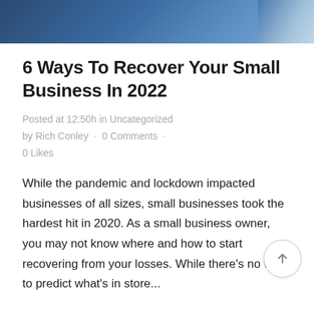[Figure (photo): Top portion of a header photo showing a dark blue background, likely a business/office scene with a person in a light blue shirt visible at the right edge.]
6 Ways To Recover Your Small Business In 2022
Posted at 12:50h in Uncategorized by Rich Conley · 0 Comments · 0 Likes
While the pandemic and lockdown impacted businesses of all sizes, small businesses took the hardest hit in 2020. As a small business owner, you may not know where and how to start recovering from your losses. While there's no way to predict what's in store...